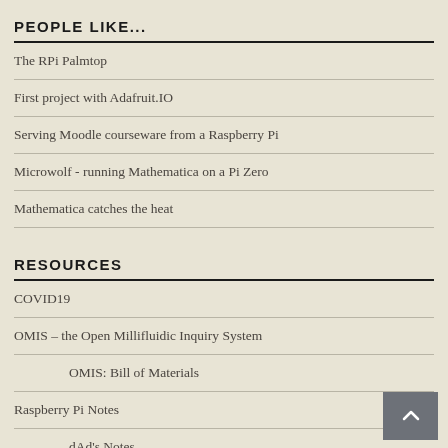PEOPLE LIKE...
The RPi Palmtop
First project with Adafruit.IO
Serving Moodle courseware from a Raspberry Pi
Microwolf - running Mathematica on a Pi Zero
Mathematica catches the heat
RESOURCES
COVID19
OMIS – the Open Millifluidic Inquiry System
OMIS: Bill of Materials
Raspberry Pi Notes
dAd's Notes